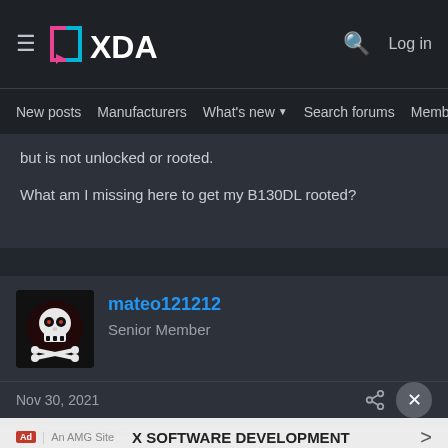XDA Developers - New posts | Manufacturers | What's new | Search forums | Members
but is not unlocked or rooted.

What am I missing here to get my B130DL rooted?
mateo121212
Senior Member
Nov 30, 2021
BluPhoneHome said:
X SOFTWARE DEVELOPMENT
Finally by cloning the livedvd directly on my computer instead of in VirtualBox I got mtkclient to work and stop getting the EMI 12 byte